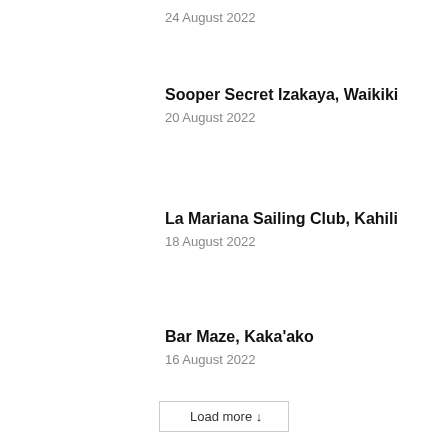24 August 2022
Sooper Secret Izakaya, Waikiki
20 August 2022
La Mariana Sailing Club, Kahili
18 August 2022
Bar Maze, Kaka'ako
16 August 2022
Load more ↓